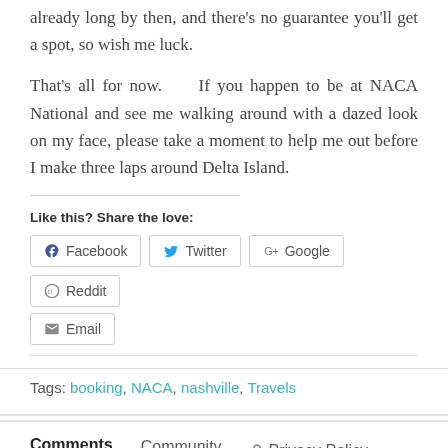already long by then, and there's no guarantee you'll get a spot, so wish me luck.
That's all for now.    If you happen to be at NACA National and see me walking around with a dazed look on my face, please take a moment to help me out before I make three laps around Delta Island.
Like this? Share the love:
[Figure (other): Social share buttons: Facebook, Twitter, Google+, Reddit, Email]
Tags: booking, NACA, nashville, Travels
Comments  Community  🔒 Privacy Policy